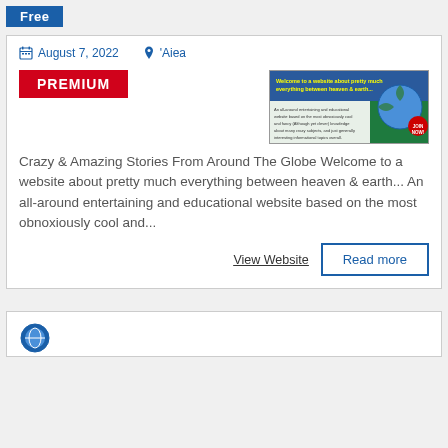Free
August 7, 2022   'Aiea
PREMIUM
[Figure (illustration): Advertisement banner: Welcome to a website about pretty much everything between heaven & earth... An all-around entertaining and educational website based on the most obnoxiously cool and fancy (although yet clever) knowledge about many crazy subjects, and just generally interesting informational topics overall. JOIN NOW!]
Crazy & Amazing Stories From Around The Globe Welcome to a website about pretty much everything between heaven & earth... An all-around entertaining and educational website based on the most obnoxiously cool and...
View Website
Read more